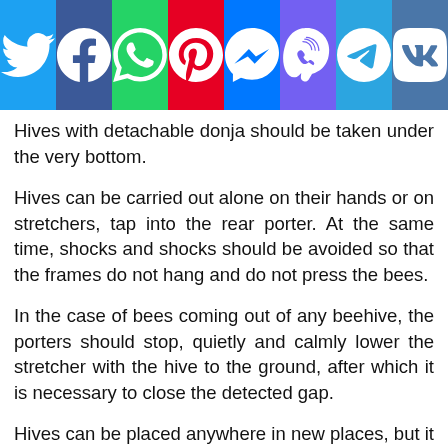[Figure (other): Social media sharing bar with icons for Twitter, Facebook, WhatsApp, Pinterest, Messenger, Viber, Telegram, and VK]
Hives with detachable donja should be taken under the very bottom.
Hives can be carried out alone on their hands or on stretchers, tap into the rear porter. At the same time, shocks and shocks should be avoided so that the frames do not hang and do not press the bees.
In the case of bees coming out of any beehive, the porters should stop, quietly and calmly lower the stretcher with the hive to the ground, after which it is necessary to close the detected gap.
Hives can be placed anywhere in new places, but it is still better to put them on last year's places, since not all bees during wintering completely forget their old places; In addition, if in the apiary the hives from year to year stand in their previous places, the beekeeper more strongly imprinted all the features of a hive and better remembered the distinguishing features of a particular family.